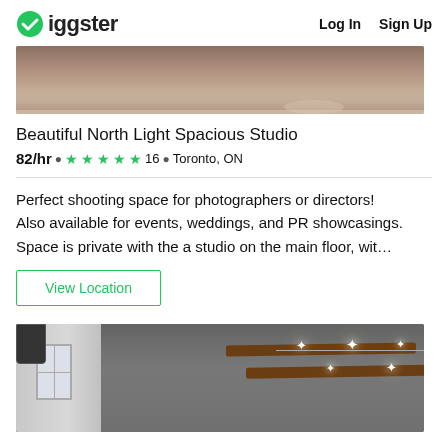Giggster  Log In  Sign Up
[Figure (photo): Top portion of a studio interior showing a concrete or stone floor with glossy reflection]
Beautiful North Light Spacious Studio
82/hr · ★★★★★ 16 · Toronto, ON
Perfect shooting space for photographers or directors! Also available for events, weddings, and PR showcasings. Space is private with the a studio on the main floor, wit…
View Location
[Figure (photo): Interior of a studio showing ceiling with track lighting, exposed wooden beams, and white walls with windows]